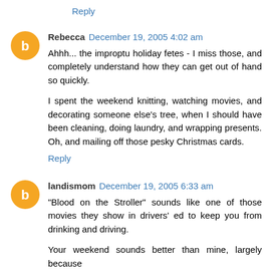Reply
Rebecca December 19, 2005 4:02 am
Ahhh... the improptu holiday fetes - I miss those, and completely understand how they can get out of hand so quickly.

I spent the weekend knitting, watching movies, and decorating someone else's tree, when I should have been cleaning, doing laundry, and wrapping presents. Oh, and mailing off those pesky Christmas cards.
Reply
landismom December 19, 2005 6:33 am
"Blood on the Stroller" sounds like one of those movies they show in drivers' ed to keep you from drinking and driving.

Your weekend sounds better than mine, largely because